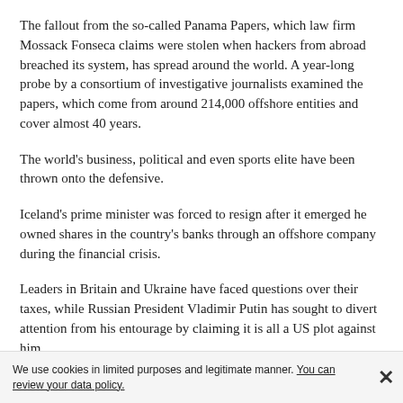The fallout from the so-called Panama Papers, which law firm Mossack Fonseca claims were stolen when hackers from abroad breached its system, has spread around the world. A year-long probe by a consortium of investigative journalists examined the papers, which come from around 214,000 offshore entities and cover almost 40 years.
The world's business, political and even sports elite have been thrown onto the defensive.
Iceland's prime minister was forced to resign after it emerged he owned shares in the country's banks through an offshore company during the financial crisis.
Leaders in Britain and Ukraine have faced questions over their taxes, while Russian President Vladimir Putin has sought to divert attention from his entourage by claiming it is all a US plot against him.
China has been censoring online forums and media to stifle discussion of the papers, which showed relatives of eight of its political top brass also
We use cookies in limited purposes and legitimate manner. You can review your data policy. ✕